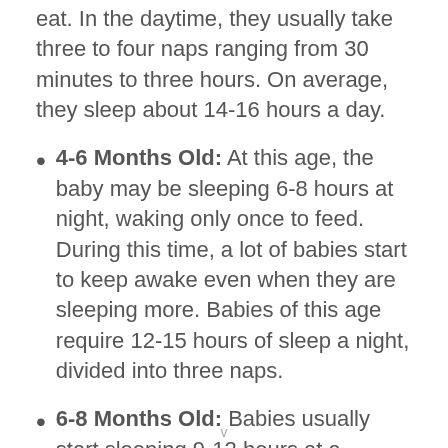eat. In the daytime, they usually take three to four naps ranging from 30 minutes to three hours. On average, they sleep about 14-16 hours a day.
4-6 Months Old: At this age, the baby may be sleeping 6-8 hours at night, waking only once to feed. During this time, a lot of babies start to keep awake even when they are sleeping more. Babies of this age require 12-15 hours of sleep a night, divided into three naps.
6-8 Months Old: Babies usually start sleeping 9-12 hours at a stretch around the half-year mark. Babies
v